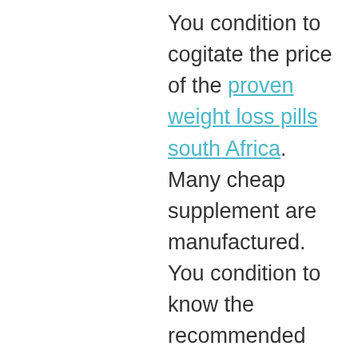You condition to cogitate the price of the proven weight loss pills south Africa. Many cheap supplement are manufactured. You condition to know the recommended essential nutrients before purchasing a product since some products may contain a wide range of right ingredients, but they are mislabeled that they won't affect. You condition to understand